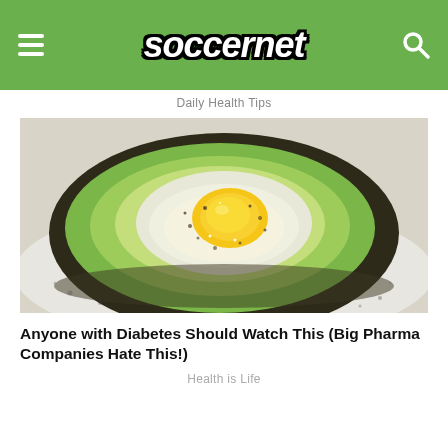soccernet
Daily Health Tips
[Figure (photo): A halved avocado with a baked egg inside, seasoned with pepper, served on a white plate]
Anyone with Diabetes Should Watch This (Big Pharma Companies Hate This!)
Health is Life